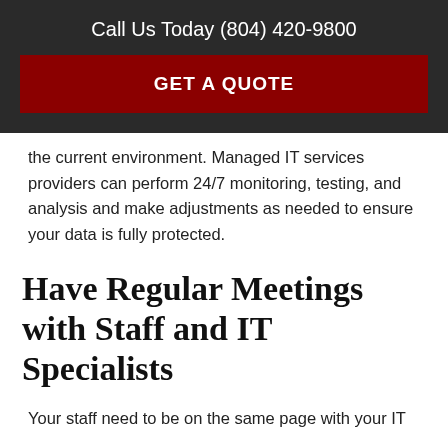Call Us Today (804) 420-9800
GET A QUOTE
the current environment. Managed IT services providers can perform 24/7 monitoring, testing, and analysis and make adjustments as needed to ensure your data is fully protected.
Have Regular Meetings with Staff and IT Specialists
Your staff need to be on the same page with your IT